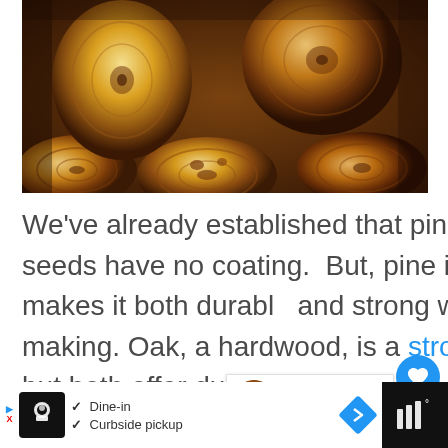[Figure (photo): Stack of cut logs viewed from the end, showing circular cross-sections with wood grain patterns, in warm brown and orange tones]
We've already established that pine is a softwood – – its seeds have no coating.  But, pine is a stiff wood; this makes it both durable and strong when used in furniture making. Oak, a hardwood, is a stronger wood than pine, but both offer durability.
[Figure (infographic): Ad bar at bottom showing restaurant with Dine-in and Curbside pickup options]